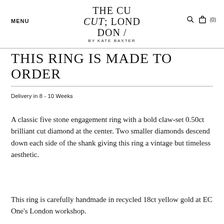MENU | THE CUT; LONDON / BY KATE BAXTER | (0)
THIS RING IS MADE TO ORDER
Delivery in 8 - 10 Weeks
A classic five stone engagement ring with a bold claw-set 0.50ct brilliant cut diamond at the center. Two smaller diamonds descend down each side of the shank giving this ring a vintage but timeless aesthetic.
This ring is carefully handmade in recycled 18ct yellow gold at EC One's London workshop.